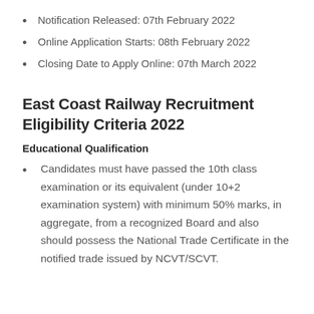Notification Released: 07th February 2022
Online Application Starts: 08th February 2022
Closing Date to Apply Online: 07th March 2022
East Coast Railway Recruitment Eligibility Criteria 2022
Educational Qualification
Candidates must have passed the 10th class examination or its equivalent (under 10+2 examination system) with minimum 50% marks, in aggregate, from a recognized Board and also should possess the National Trade Certificate in the notified trade issued by NCVT/SCVT.